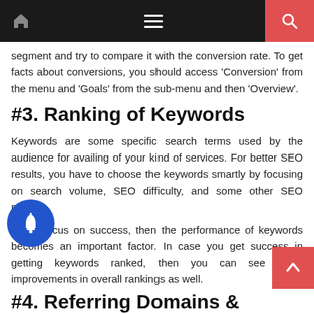Navigation bar with home icon, hamburger menu, and search button
segment and try to compare it with the conversion rate. To get facts about conversions, you should access 'Conversion' from the menu and 'Goals' from the sub-menu and then 'Overview'.
#3. Ranking of Keywords
Keywords are some specific search terms used by the audience for availing of your kind of services. For better SEO results, you have to choose the keywords smartly by focusing on search volume, SEO difficulty, and some other SEO metrics.
If you focus on success, then the performance of keywords becomes an important factor. In case you get success in getting keywords ranked, then you can see some improvements in overall rankings as well.
#4. Referring Domains & Backlinks